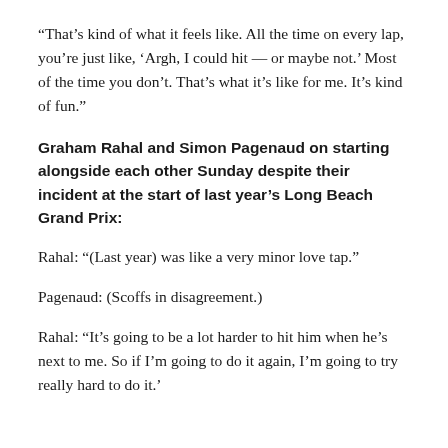“That’s kind of what it feels like. All the time on every lap, you’re just like, ‘Argh, I could hit — or maybe not.’ Most of the time you don’t. That’s what it’s like for me. It’s kind of fun.”
Graham Rahal and Simon Pagenaud on starting alongside each other Sunday despite their incident at the start of last year’s Long Beach Grand Prix:
Rahal: “(Last year) was like a very minor love tap.”
Pagenaud: (Scoffs in disagreement.)
Rahal: “It’s going to be a lot harder to hit him when he’s next to me. So if I’m going to do it again, I’m going to try really hard to do it.’